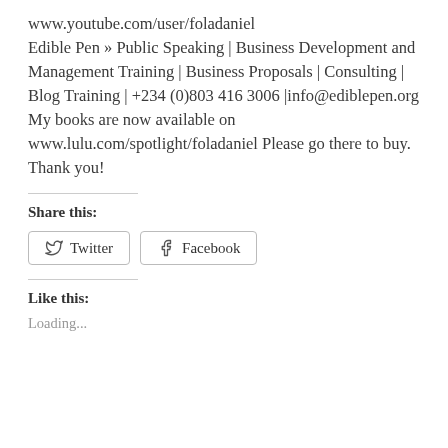www.youtube.com/user/foladaniel Edible Pen » Public Speaking | Business Development and Management Training | Business Proposals | Consulting | Blog Training | +234 (0)803 416 3006 |info@ediblepen.org My books are now available on www.lulu.com/spotlight/foladaniel Please go there to buy. Thank you!
Share this:
[Figure (other): Twitter and Facebook share buttons]
Like this:
Loading...